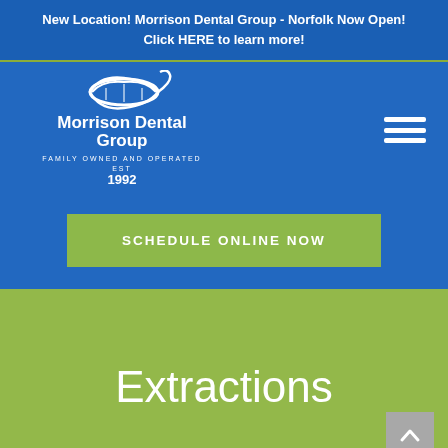New Location! Morrison Dental Group - Norfolk Now Open!
Click HERE to learn more!
[Figure (logo): Morrison Dental Group logo with tooth/dental graphic, text 'Morrison Dental Group', 'FAMILY OWNED AND OPERATED', 'EST 1992']
SCHEDULE ONLINE NOW
Extractions